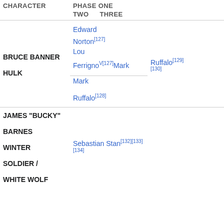| CHARACTER | PHASE ONE | TWO | THREE | PHASE FOUR |
| --- | --- | --- | --- | --- |
| BRUCE BANNER / HULK | Edward Norton[127]
Lou Ferrigno^V[127]
Mark Ruffalo[128] | Mark Ruffalo[129][130] |  | Mark Ruffalo^C[131] |
| JAMES "BUCKY" BARNES / WINTER SOLDIER / WHITE WOLF |  | Sebastian Stan[132][133][134] |  |  |